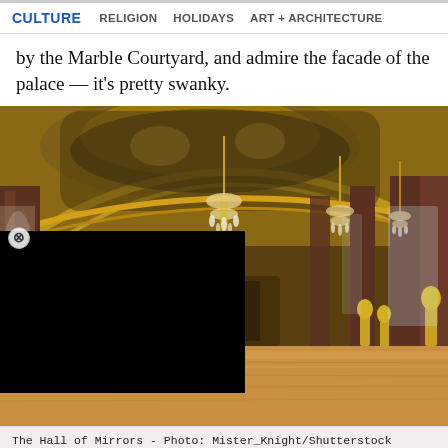CULTURE  RELIGION  HOLIDAYS  ART + ARCHITECTURE
by the Marble Courtyard, and admire the facade of the palace — it's pretty swanky.
[Figure (photo): Interior of the Hall of Mirrors at the Palace of Versailles, showing elaborate gilded arched ceilings with painted murals, crystal chandeliers, marble columns, and gold statues. A black rectangle overlays the lower-left portion of the image, with a circular close (X) button at its top-left corner.]
The Hall of Mirrors - Photo: Mister_Knight/Shutterstock